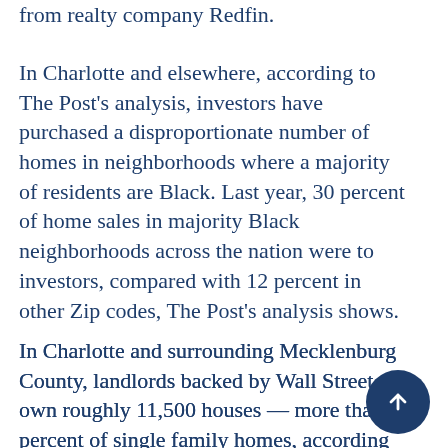from realty company Redfin.
In Charlotte and elsewhere, according to The Post's analysis, investors have purchased a disproportionate number of homes in neighborhoods where a majority of residents are Black. Last year, 30 percent of home sales in majority Black neighborhoods across the nation were to investors, compared with 12 percent in other Zip codes, The Post's analysis shows.
In Charlotte and surrounding Mecklenburg County, landlords backed by Wall Street own roughly 11,500 houses — more than 4 percent of single family homes, according to an analysis last year by the University of North Carolina at